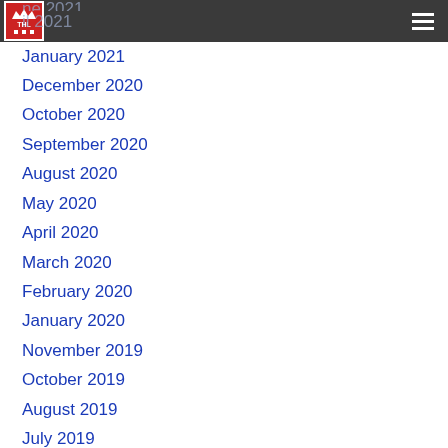THL logo and navigation header
June 2021
April 2021
January 2021
December 2020
October 2020
September 2020
August 2020
May 2020
April 2020
March 2020
February 2020
January 2020
November 2019
October 2019
August 2019
July 2019
June 2019
May 2019
April 2019